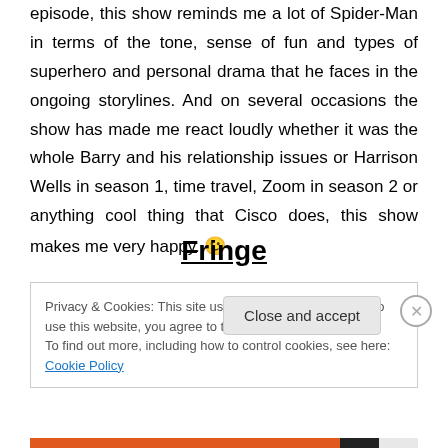episode, this show reminds me a lot of Spider-Man in terms of the tone, sense of fun and types of superhero and personal drama that he faces in the ongoing storylines. And on several occasions the show has made me react loudly whether it was the whole Barry and his relationship issues or Harrison Wells in season 1, time travel, Zoom in season 2 or anything cool thing that Cisco does, this show makes me very happy. 🙂
Fringe
Privacy & Cookies: This site uses cookies. By continuing to use this website, you agree to their use. To find out more, including how to control cookies, see here: Cookie Policy